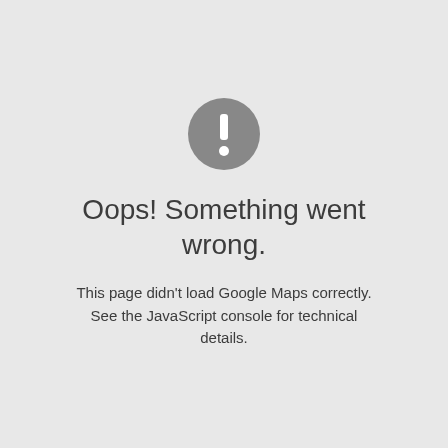[Figure (illustration): A dark gray circle with a white exclamation mark (!) inside, serving as an error/warning icon.]
Oops! Something went wrong.
This page didn't load Google Maps correctly. See the JavaScript console for technical details.